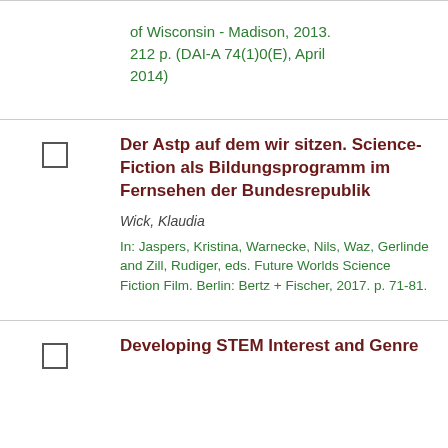of Wisconsin - Madison, 2013. 212 p. (DAI-A 74(1)0(E), April 2014)
Der Astp auf dem wir sitzen. Science-Fiction als Bildungsprogramm im Fernsehen der Bundesrepublik
Wick, Klaudia
In: Jaspers, Kristina, Warnecke, Nils, Waz, Gerlinde and Zill, Rudiger, eds. Future Worlds Science Fiction Film. Berlin: Bertz + Fischer, 2017. p. 71-81.
Developing STEM Interest and Genre